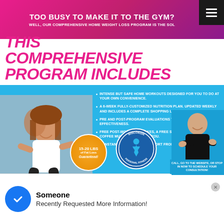TOO BUSY TO MAKE IT TO THE GYM?
WELL, OUR COMPREHENSIVE HOME WEIGHT LOSS PROGRAM IS THE SOL
THIS COMPREHENSIVE PROGRAM INCLUDES
INTENSE BUT SAFE HOME WORKOUTS DESIGNED FOR YOU TO DO AT YOUR OWN CONVENIENCE.
A 6-WEEK FULLY-CUSTOMIZED NUTRITION PLAN. UPDATED WEEKLY AND INCLUDES A COMPLETE SHOPPING LIST.
PRE AND POST-PROGRAM EVALUATIONS TO ASSESS PROGRESS AND EFFECTIVENESS.
FREE POST-WORKOUT SHAKES, A FREE SHAKER BOTTLE, AND COFFEE MUG PROVIDED FOR YOU.
CONSTANT AND ONGOING SUPPORT FROM YOUR TRAINER.
[Figure (photo): Woman sitting on floor smiling, in workout attire]
15-20 lbs of Fat Loss Guaranteed!
[Figure (logo): Wisconsin Personal Fitness circular logo]
[Figure (photo): Man in black outfit standing with arms crossed, smiling]
CALL, GO TO THE WEBSITE, OR STOP IN NOW TO SCHEDULE YOUR CONSULTATION!
Someone
Recently Requested More Information!